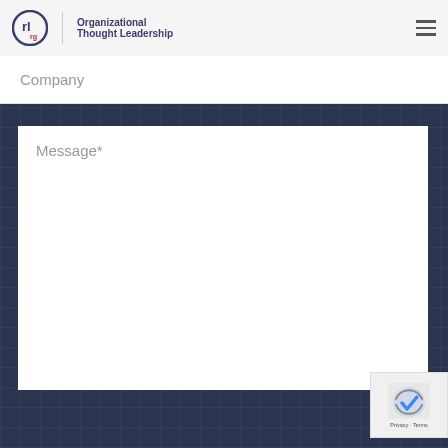Organizational Thought Leadership
Company
Message*
[Figure (logo): reCAPTCHA badge with Privacy and Terms links]